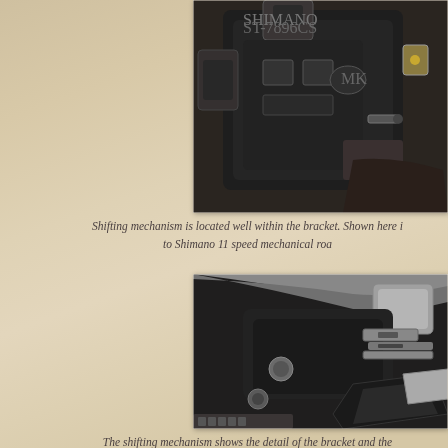[Figure (photo): Close-up photograph of a bicycle shifting mechanism located within the brake bracket, showing dark mechanical components with Shimano branding]
Shifting mechanism is located well within the bracket. Shown here is to Shimano 11 speed mechanical roa
[Figure (photo): Close-up photograph of a bicycle front derailleur or brake mechanism showing metallic and black components with chain visible]
The shifting mechanism shows the detail of the bracket and the